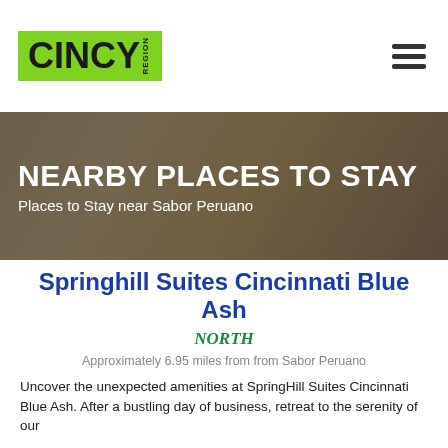[Figure (logo): Cincy Region logo on green background]
[Figure (other): Hamburger menu icon (three horizontal bars)]
[Figure (photo): Hotel room interior hero banner image with dark overlay]
NEARBY PLACES TO STAY
Places to Stay near Sabor Peruano
Springhill Suites Cincinnati Blue Ash
NORTH
Approximately 6.95 miles from from Sabor Peruano
Uncover the unexpected amenities at SpringHill Suites Cincinnati Blue Ash. After a bustling day of business, retreat to the serenity of our